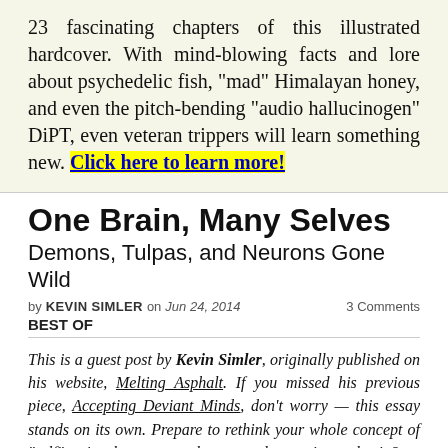23 fascinating chapters of this illustrated hardcover. With mind-blowing facts and lore about psychedelic fish, "mad" Himalayan honey, and even the pitch-bending "audio hallucinogen" DiPT, even veteran trippers will learn something new. Click here to learn more!
One Brain, Many Selves
Demons, Tulpas, and Neurons Gone Wild
by KEVIN SIMLER on Jun 24, 2014    3 Comments
BEST OF
This is a guest post by Kevin Simler, originally published on his website, Melting Asphalt. If you missed his previous piece, Accepting Deviant Minds, don't worry — this essay stands on its own. Prepare to rethink your whole concept of "self" — just how many selves can take root in one brain?